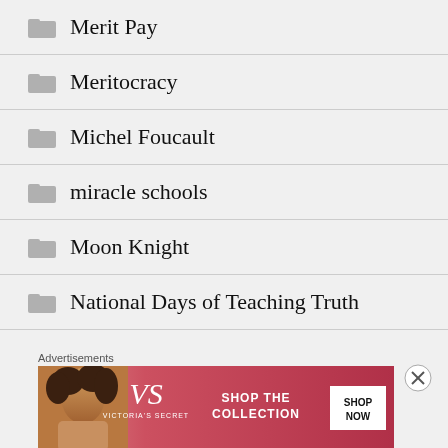Merit Pay
Meritocracy
Michel Foucault
miracle schools
Moon Knight
National Days of Teaching Truth
NCLB
NCTF
[Figure (photo): Victoria's Secret advertisement banner with a woman model, VS logo, 'SHOP THE COLLECTION' text and 'SHOP NOW' button]